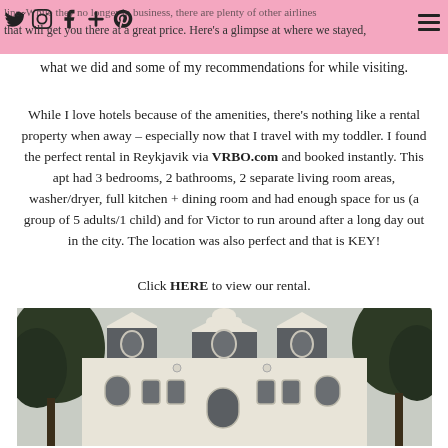line. While they no longer in business, there are plenty of other airlines that will get you there at a great price. Here's a glimpse at where we stayed,
what we did and some of my recommendations for while visiting.
While I love hotels because of the amenities, there's nothing like a rental property when away – especially now that I travel with my toddler. I found the perfect rental in Reykjavik via VRBO.com and booked instantly. This apt had 3 bedrooms, 2 bathrooms, 2 separate living room areas, washer/dryer, full kitchen + dining room and had enough space for us (a group of 5 adults/1 child) and for Victor to run around after a long day out in the city. The location was also perfect and that is KEY!
Click HERE to view our rental.
[Figure (photo): Exterior photo of a white historic building in Reykjavik with ornate gabled roofline and arched windows, surrounded by trees]